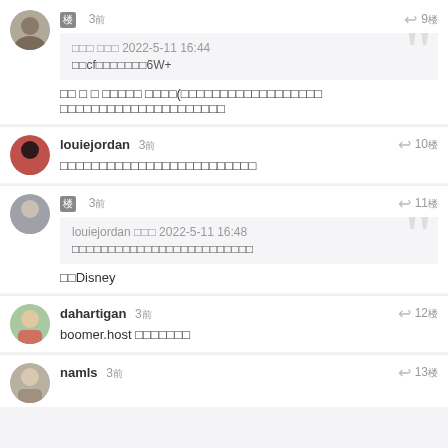Comment block 1: user with badge, 3ago, reply 9, quote box: xxx xxxx 2022-5-11 16:44 / xxcfxxxxxxx6W+, comment text: xx x x xxxxx xxxx(xxxxxxxxxxxxxxxxxxxxx xxxxxxxxxxxxxxxxxxxxxxxxx
louiejordan 3ago reply 10 / xxxxxxxxxxxxxxxxxxxxxxxxx
user with badge 3ago reply 11, quote: louiejordan xxx 2022-5-11 16:48 / xxxxxxxxxxxxxxxxxxxxxxxxx, comment: xxDisney
dahartigan 3ago reply 12 / boomer.host xxxxxxx
namls 3ago reply 13